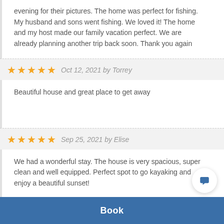evening for their pictures. The home was perfect for fishing. My husband and sons went fishing. We loved it! The home and my host made our family vacation perfect. We are already planning another trip back soon. Thank you again
★★★★★ Oct 12, 2021 by Torrey
Beautiful house and great place to get away
★★★★★ Sep 25, 2021 by Elise
We had a wonderful stay. The house is very spacious, super clean and well equipped. Perfect spot to go kayaking and enjoy a beautiful sunset!
Book